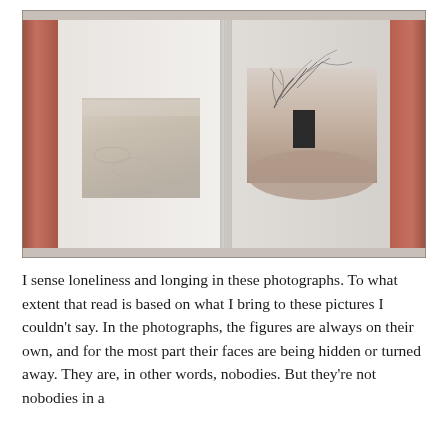[Figure (photo): A photograph of an open hardcover book with pinkish-salmon spine binding. The left page shows a small photograph of what appears to be sandy or textured ground/water surface. The right page shows a photograph of a curved human form (shoulder/back) with a dark rectangular object and delicate branch-like lines above it.]
I sense loneliness and longing in these photographs. To what extent that read is based on what I bring to these pictures I couldn't say. In the photographs, the figures are always on their own, and for the most part their faces are being hidden or turned away. They are, in other words, nobodies. But they're not nobodies in a